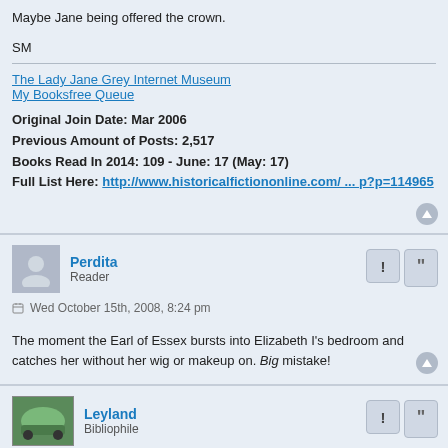Maybe Jane being offered the crown.
SM
The Lady Jane Grey Internet Museum
My Booksfree Queue
Original Join Date: Mar 2006
Previous Amount of Posts: 2,517
Books Read In 2014: 109 - June: 17 (May: 17)
Full List Here: http://www.historicalfictiononline.com/ ... p?p=114965
Perdita
Reader
Wed October 15th, 2008, 8:24 pm
The moment the Earl of Essex bursts into Elizabeth I's bedroom and catches her without her wig or makeup on. Big mistake!
Leyland
Bibliophile